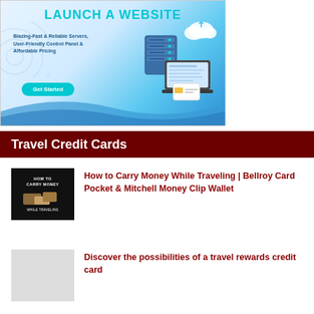[Figure (illustration): Web hosting advertisement banner with blue gradient background. Shows 'LAUNCH A WEBSITE' title in teal/cyan text, tagline 'Blazing-Fast & Reliable Servers, User-Friendly Control Panel & Affordable Pricing', a 'Get Started' teal button, and a server/laptop/cloud illustration on the right side.]
Travel Credit Cards
[Figure (photo): Thumbnail image with black background and white text reading 'HOW TO CARRY MONEY' with imagery of a wallet/purse.]
How to Carry Money While Traveling | Bellroy Card Pocket & Mitchell Money Clip Wallet
Discover the possibilities of a travel rewards credit card